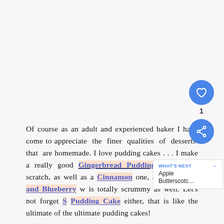Of course as an adult and experienced baker I have come to appreciate the finer qualities of desserts that are homemade. I love pudding cakes . . . I make a really good Gingerbread Pudding Cake from scratch, as well as a Cinnamon one, and an Apple and Blueberry which is totally scrummy as well. Let's not forget S'mores Pudding Cake either, that is like the ultimate of the ultimate pudding cakes!